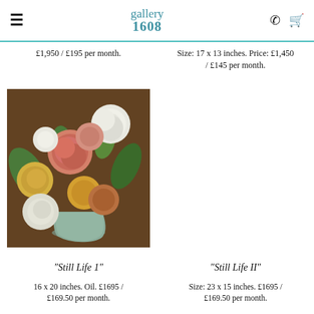gallery 1608
£1,950 / £195 per month.
Size: 17 x 13 inches. Price: £1,450 / £145 per month.
[Figure (photo): Painting of flowers in a vase – a still life with pink, white, yellow, and orange peonies/roses in a grey-green vase against a brown background.]
"Still Life 1"
"Still Life II"
16 x 20 inches. Oil. £1695 / £169.50 per month.
Size: 23 x 15 inches. £1695 / £169.50 per month.